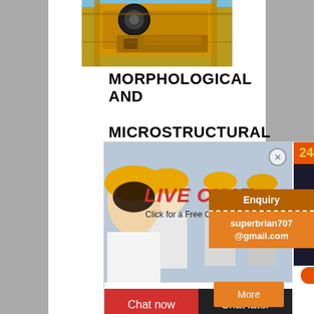[Figure (photo): Yellow industrial mining/crushing machinery equipment outdoors]
MORPHOLOGICAL AND MICROSTRUCTURAL CHARACTERIZATION
[Figure (screenshot): Live chat popup overlay with workers in hard hats. Red 'LIVE CHAT' text, 'Click for a Free Consultation', Chat now / Chat later buttons, and a 24/7 hour online agent photo panel with 'Click to chat' and 'Enquiry' / 'superbrian707@gmail.com' sections]
use of biocoke in anodes for aluminium production - 1, [7]. The possibility for replacing petroleum coke with ndustrial coke and pure bio- cokes, produced from maple - and spruce ...
[Figure (other): Orange 'More' button]